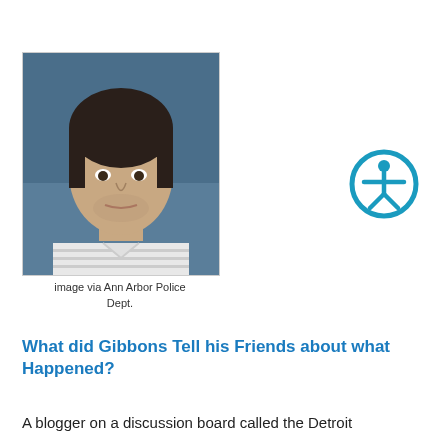[Figure (photo): Mugshot of a young man with dark hair wearing a striped shirt, against a blue background. Ann Arbor Police Department booking photo.]
image via Ann Arbor Police Dept.
[Figure (illustration): Accessibility icon (blue circle with stylized person figure in the center)]
What did Gibbons Tell his Friends about what Happened?
A blogger on a discussion board called the Detroit